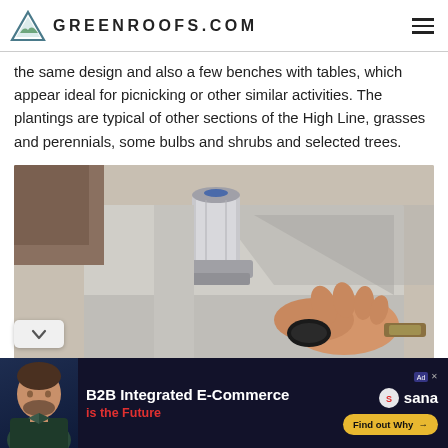GREENROOFS.COM
the same design and also a few benches with tables, which appear ideal for picnicking or other similar activities. The plantings are typical of other sections of the High Line, grasses and perennials, some bulbs and shrubs and selected trees.
[Figure (photo): Close-up photo of a stainless steel cylindrical sensor or fitting mounted on a concrete structure, with a person's hand visible holding or touching a dark object near the base. Outdoor setting with soil visible in background.]
[Figure (infographic): Advertisement banner for Sana Commerce: B2B Integrated E-Commerce is the Future. Dark navy background with a man's photo on the left, Sana logo on the right, and a yellow 'Find out Why' button.]